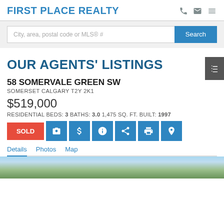FIRST PLACE REALTY
City, area, postal code or MLS® #
OUR AGENTS' LISTINGS
58 SOMERVALE GREEN SW
SOMERSET CALGARY T2Y 2K1
$519,000
RESIDENTIAL BEDS: 3 BATHS: 3.0 1,475 SQ. FT. BUILT: 1997
SOLD
Details Photos Map
[Figure (photo): Exterior photo of property at 58 Somervale Green SW, showing sky and trees]